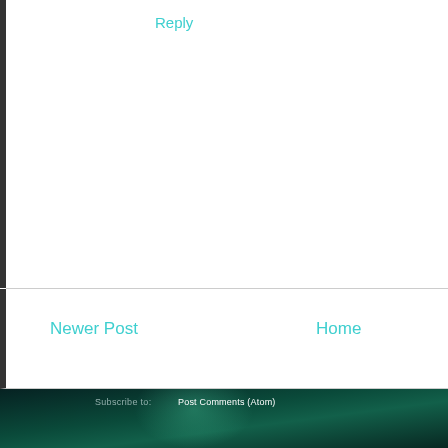Reply
Newer Post
Home
Post Comments (Atom)
Popular Posts
Just Another New Year Post
A new year. A blank page. A beginning to a new chapter. I want to fill this one with happiness, success, and lo...
[Figure (photo): Photo of two women smiling at an event]
A VERY LONG (kinda like our nights) WFC POST
I survived my first World Fantasy Convention. I say first because I plan to attend ALL future WFCs. I've be...